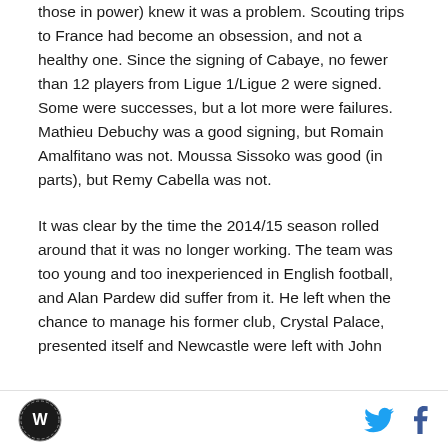those in power) knew it was a problem. Scouting trips to France had become an obsession, and not a healthy one. Since the signing of Cabaye, no fewer than 12 players from Ligue 1/Ligue 2 were signed. Some were successes, but a lot more were failures. Mathieu Debuchy was a good signing, but Romain Amalfitano was not. Moussa Sissoko was good (in parts), but Remy Cabella was not.
It was clear by the time the 2014/15 season rolled around that it was no longer working. The team was too young and too inexperienced in English football, and Alan Pardew did suffer from it. He left when the chance to manage his former club, Crystal Palace, presented itself and Newcastle were left with John